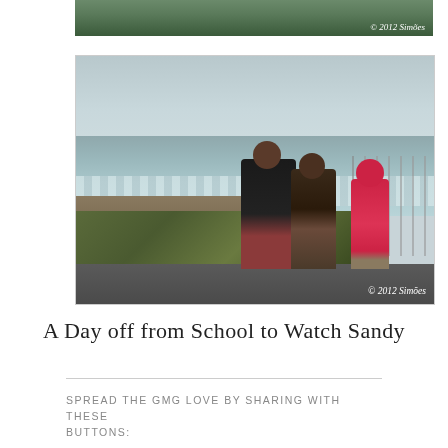[Figure (photo): Top portion of a photo with green vegetation and a copyright watermark © 2012 Simões]
[Figure (photo): Three people standing on a road overlooking rough ocean waves during Hurricane Sandy. Two adults and a child in a bright pink jacket. Overcast sky and choppy seas visible. Copyright watermark © 2012 Simões.]
A Day off from School to Watch Sandy
SPREAD THE GMG LOVE BY SHARING WITH THESE BUTTONS: